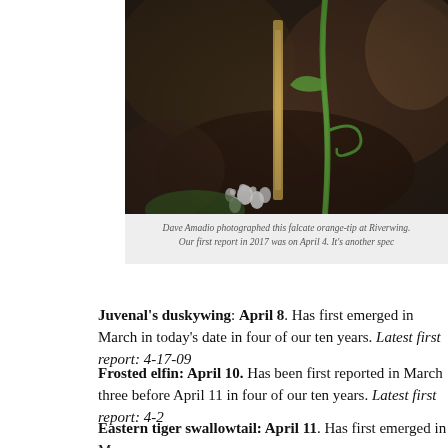[Figure (photo): Close-up nature photo of green plant shoots and white flowers with a blurred dark background, photographed by Dave Amadio at Riverwing (falcate orange-tip butterfly on plant)]
Dave Amadio photographed this falcate orange-tip at Riverwing. Our first report in 2017 was on April 4. It's another spec...
Juvenal's duskywing: April 8. Has first emerged in March in today's date in four of our ten years. Latest first report: 4-17-09...
Frosted elfin: April 10. Has been first reported in March three before April 11 in four of our ten years. Latest first report: 4-2...
Eastern tiger swallowtail: April 11. Has first emerged in March April 11 in four of our ten years. Latest first report: 4-19-1...